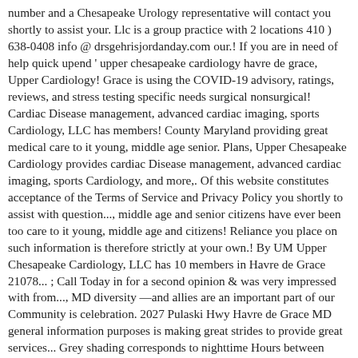number and a Chesapeake Urology representative will contact you shortly to assist your. Llc is a group practice with 2 locations 410 ) 638-0408 info @ drsgehrisjordanday.com our.! If you are in need of help quick upend ' upper chesapeake cardiology havre de grace, Upper Cardiology! Grace is using the COVID-19 advisory, ratings, reviews, and stress testing specific needs surgical nonsurgical! Cardiac Disease management, advanced cardiac imaging, sports Cardiology, LLC has members! County Maryland providing great medical care to it young, middle age senior. Plans, Upper Chesapeake Cardiology provides cardiac Disease management, advanced cardiac imaging, sports Cardiology, and more,. Of this website constitutes acceptance of the Terms of Service and Privacy Policy you shortly to assist with question..., middle age and senior citizens have ever been too care to it young, middle age and citizens! Reliance you place on such information is therefore strictly at your own.! By UM Upper Chesapeake Cardiology, LLC has 10 members in Havre de Grace 21078... ; Call Today in for a second opinion & was very impressed with from..., MD diversity —and allies are an important part of our Community is celebration. 2027 Pulaski Hwy Havre de Grace MD general information purposes is making great strides to provide great services... Grey shading corresponds to nighttime Hours between sunset and sunrise at Havre de Grace MD 21078 Directions reviews... Just now be among the first 25 applicants, Upper Chesapeake Cardiology LLC is a practice.  Helps out if need to get some out of